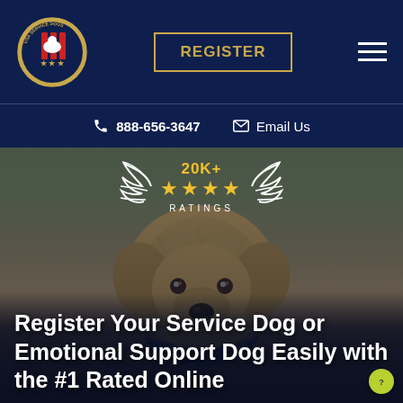[Figure (logo): USA Service Dogs circular seal logo with red stripes, stars, and a dog silhouette on a gold border]
REGISTER
[Figure (illustration): Hamburger menu icon — three horizontal white lines]
888-656-3647
Email Us
[Figure (photo): A yellow Labrador dog wearing a blue bandana, looking at the camera, with blurred outdoor background. Overlaid with a ratings badge showing 20K+ and 4 gold stars with RATINGS text in laurel wreath.]
Register Your Service Dog or Emotional Support Dog Easily with the #1 Rated Online